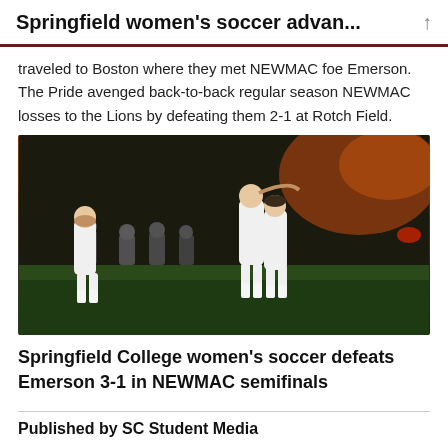Springfield women's soccer advan...
traveled to Boston where they met NEWMAC foe Emerson. The Pride avenged back-to-back regular season NEWMAC losses to the Lions by defeating them 2-1 at Rotch Field.
[Figure (photo): Springfield College women's soccer players celebrating on field at night, hugging after a match, with spectators in the background]
Springfield College women's soccer defeats Emerson 3-1 in NEWMAC semifinals
Published by SC Student Media